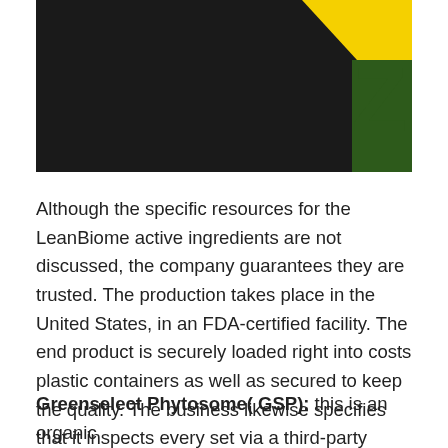[Figure (photo): Dark background photo with a yellow and green logo/letter Z visible in the upper right corner]
Although the specific resources for the LeanBiome active ingredients are not discussed, the company guarantees they are trusted. The production takes place in the United States, in an FDA-certified facility. The end product is securely loaded right into costs plastic containers as well as secured to keep the quality. The business likewise specifies that it inspects every set via a third-party testing facility to avoid the danger of contamination.
Greenselect Phytosome( GSP): this is an organic